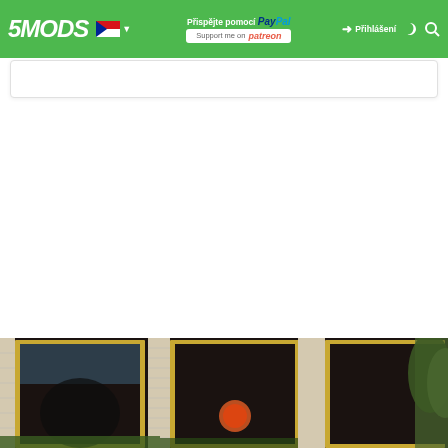5MODS navigation bar with logo, Czech flag, PayPal/Patreon donation links, login button, dark mode toggle, and search icon
[Figure (screenshot): Search bar input field below the navigation bar]
[Figure (photo): Photograph of a building wall with artwork/paintings showing dark scenes with a red/orange circle (moon or sun), framed in yellow/gold borders, with trees visible on the right side]